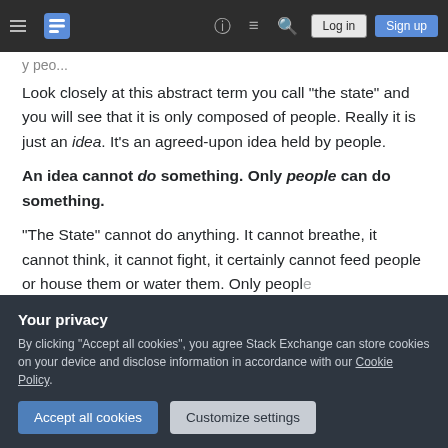Stack Exchange navigation bar with hamburger menu, logo, help, chat, search icons, Log in and Sign up buttons
y p...
Look closely at this abstract term you call "the state" and you will see that it is only composed of people. Really it is just an idea. It's an agreed-upon idea held by people.
An idea cannot do something. Only people can do something.
"The State" cannot do anything. It cannot breathe, it cannot think, it cannot fight, it certainly cannot feed people or house them or water them. Only people
Your privacy
By clicking “Accept all cookies”, you agree Stack Exchange can store cookies on your device and disclose information in accordance with our Cookie Policy.
Accept all cookies  Customize settings